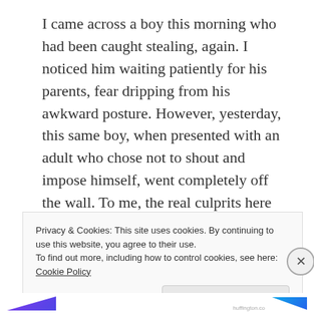I came across a boy this morning who had been caught stealing, again. I noticed him waiting patiently for his parents, fear dripping from his awkward posture. However, yesterday, this same boy, when presented with an adult who chose not to shout and impose himself, went completely off the wall. To me, the real culprits here or at least his partners in crime, were his folks who haven't equipped him with the skills to self-manage, to make right choices, even if no one ever checks up.
I have noticed that in teaching our children to be self
Privacy & Cookies: This site uses cookies. By continuing to use this website, you agree to their use.
To find out more, including how to control cookies, see here: Cookie Policy
Close and accept